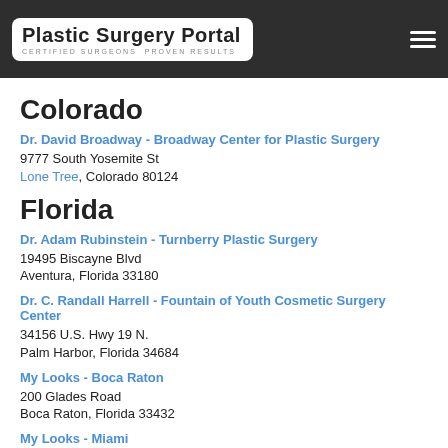Plastic Surgery Portal — CERTIFIED SURGEONS. PROVEN RESULTS.
Colorado
Dr. David Broadway - Broadway Center for Plastic Surgery
9777 South Yosemite St
Lone Tree, Colorado 80124
Florida
Dr. Adam Rubinstein - Turnberry Plastic Surgery
19495 Biscayne Blvd
Aventura, Florida 33180
Dr. C. Randall Harrell - Fountain of Youth Cosmetic Surgery Center
34156 U.S. Hwy 19 N.
Palm Harbor, Florida 34684
My Looks - Boca Raton
200 Glades Road
Boca Raton, Florida 33432
My Looks - Miami
6330 Manor Lane #100
South Miami, Florida 33143